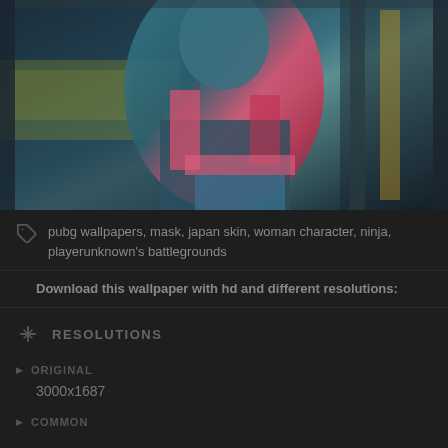[Figure (screenshot): PUBG game character - a female ninja character in teal and pink armor/outfit crouching on a structure with an urban environment visible in the background]
pubg wallpapers, mask, japan skin, woman character, ninja, playerunknown's battlegrounds
Download this wallpaper with hd and different resolutions:
RESOLUTIONS
ORIGINAL
3000x1687
COMMON